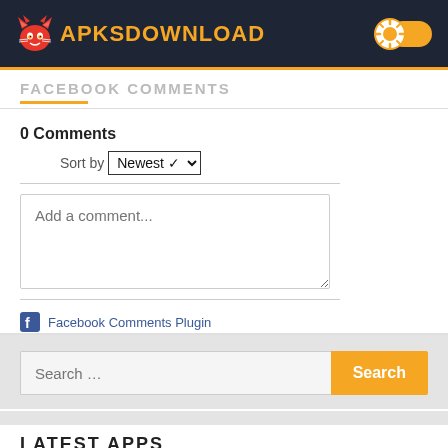[Figure (logo): ApksDownload website header with devil cat logo icon in red and orange text 'APKSDOWNLOAD' on dark navy background, with a sun/toggle icon on the right]
FACEBOOK COMMENTS
0 Comments
Sort by Newest
Add a comment...
Facebook Comments Plugin
Search …
LATEST APPS